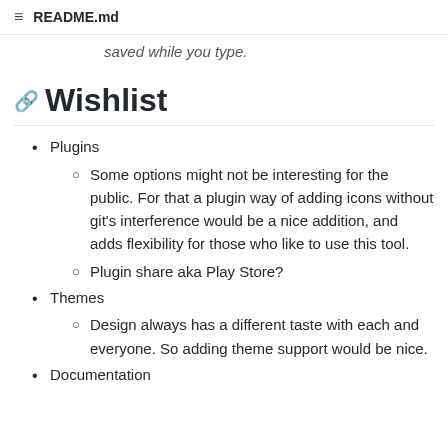≡ README.md
saved while you type.
Wishlist
Plugins
Some options might not be interesting for the public. For that a plugin way of adding icons without git's interference would be a nice addition, and adds flexibility for those who like to use this tool.
Plugin share aka Play Store?
Themes
Design always has a different taste with each and everyone. So adding theme support would be nice.
Documentation